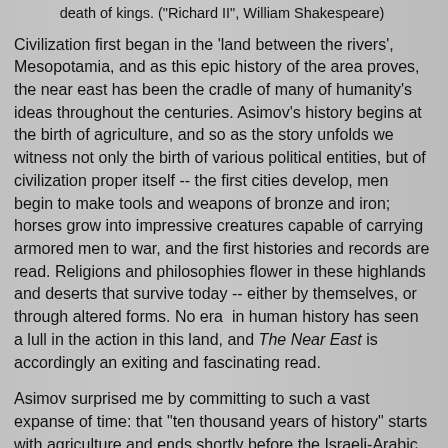death of kings. ("Richard II", William Shakespeare)
Civilization first began in the 'land between the rivers', Mesopotamia, and as this epic history of the area proves, the near east has been the cradle of many of humanity's ideas throughout the centuries. Asimov's history begins at the birth of agriculture, and so as the story unfolds we witness not only the birth of various political entities, but of civilization proper itself -- the first cities develop, men begin to make tools and weapons of bronze and iron; horses grow into impressive creatures capable of carrying armored men to war, and the first histories and records are read. Religions and philosophies flower in these highlands and deserts that survive today -- either by themselves, or through altered forms. No era in human history has seen a lull in the action in this land, and The Near East is accordingly an exiting and fascinating read.
Asimov surprised me by committing to such a vast expanse of time: that "ten thousand years of history" starts with agriculture and ends shortly before the Israeli-Arabic wars, with Asimov penning hopes for peace that seem sad, so